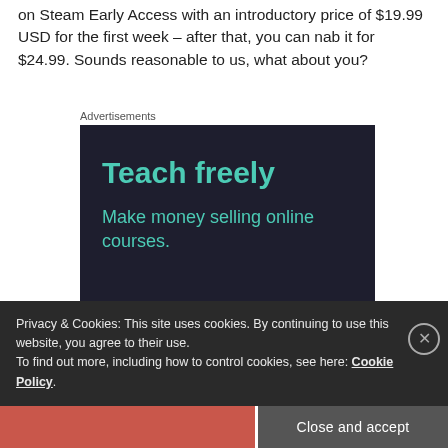on Steam Early Access with an introductory price of $19.99 USD for the first week – after that, you can nab it for $24.99. Sounds reasonable to us, what about you?
Advertisements
[Figure (screenshot): Dark blue advertisement banner with teal text reading 'Teach freely' and subtitle 'Make money selling online courses.']
Privacy & Cookies: This site uses cookies. By continuing to use this website, you agree to their use.
To find out more, including how to control cookies, see here: Cookie Policy
Close and accept